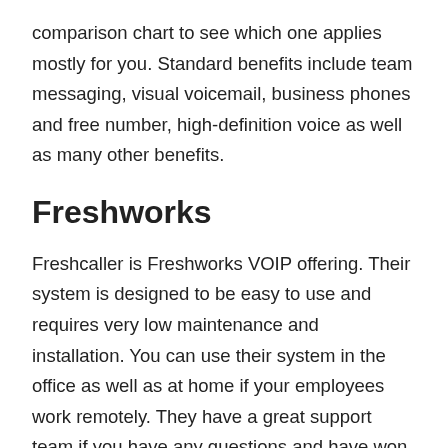comparison chart to see which one applies mostly for you. Standard benefits include team messaging, visual voicemail, business phones and free number, high-definition voice as well as many other benefits.
Freshworks
Freshcaller is Freshworks VOIP offering. Their system is designed to be easy to use and requires very low maintenance and installation. You can use their system in the office as well as at home if your employees work remotely. They have a great support team if you have any questions and have won many awards for their service. If you want to try out their system you can use their 21-day free trial to see what they are all about.